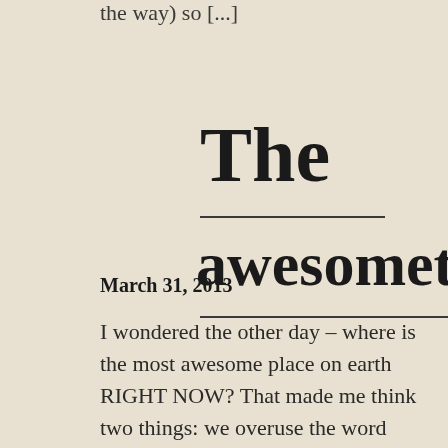the way) so [...]
The awesometer
March 31, 2013
I wondered the other day – where is the most awesome place on earth RIGHT NOW? That made me think two things: we overuse the word awesome it would be cool to use this